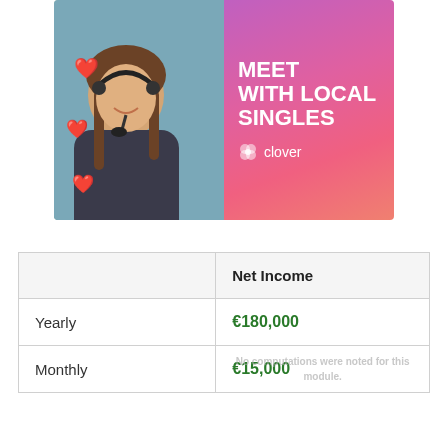[Figure (illustration): Advertisement for Clover dating app showing a smiling woman with a headset microphone and floating heart emojis on the left, and a pink-to-purple gradient background on the right with bold white text reading 'MEET WITH LOCAL SINGLES' and the Clover logo.]
|  | Net Income |
| --- | --- |
| Yearly | €180,000 |
| Monthly | €15,000 |